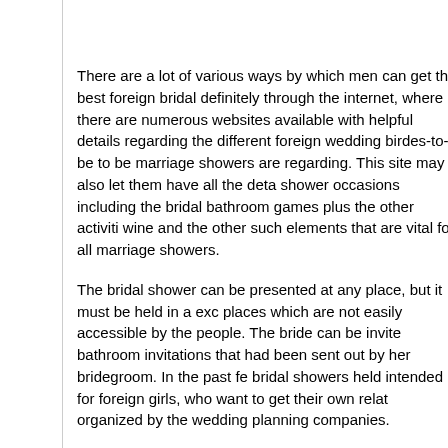There are a lot of various ways by which men can get the best foreign bridal definitely through the internet, where there are numerous websites available with helpful details regarding the different foreign wedding birdes-to-be to be marriage showers are regarding. This site may also let them have all the details shower occasions including the bridal bathroom games plus the other activities wine and the other such elements that are vital for all marriage showers.
The bridal shower can be presented at any place, but it must be held in a exclusive places which are not easily accessible by the people. The bride can be invited bathroom invitations that had been sent out by her bridegroom. In the past few bridal showers held intended for foreign girls, who want to get their own relatives organized by the wedding planning companies.
The wedding showers need to be organized with care and thought, since the bride would not want. In past times, the bridal tub areas were usually organized. However , nowadays there are a lot of websites that could organize the bridal invitations to parties are posted throughout the net. The guests would need to the websites which might be put in place for the parties, and they may send the organizers within the said get together. This way, they would frequently be able addresses with the participants within the said occasions, and they would be able to the friends and find the party prepared.
There are various foreign bridal baths which have been prepared over the past some which are structured regularly. A few of the bridal baths have been hosted